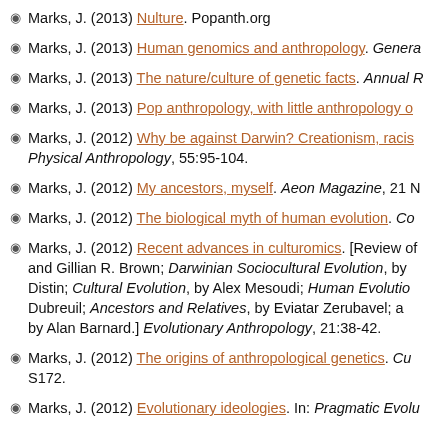Marks, J. (2013) Nulture. Popanth.org
Marks, J. (2013) Human genomics and anthropology. Genera...
Marks, J. (2013) The nature/culture of genetic facts. Annual R...
Marks, J. (2013) Pop anthropology, with little anthropology o...
Marks, J. (2012) Why be against Darwin? Creationism, racis... Physical Anthropology, 55:95-104.
Marks, J. (2012) My ancestors, myself. Aeon Magazine, 21 N...
Marks, J. (2012) The biological myth of human evolution. Co...
Marks, J. (2012) Recent advances in culturomics. [Review of... and Gillian R. Brown; Darwinian Sociocultural Evolution, by... Distin; Cultural Evolution, by Alex Mesoudi; Human Evolutio... Dubreuil; Ancestors and Relatives, by Eviatar Zerubavel; a... by Alan Barnard.] Evolutionary Anthropology, 21:38-42.
Marks, J. (2012) The origins of anthropological genetics. Cu... S172.
Marks, J. (2012) Evolutionary ideologies. In: Pragmatic Evolu...